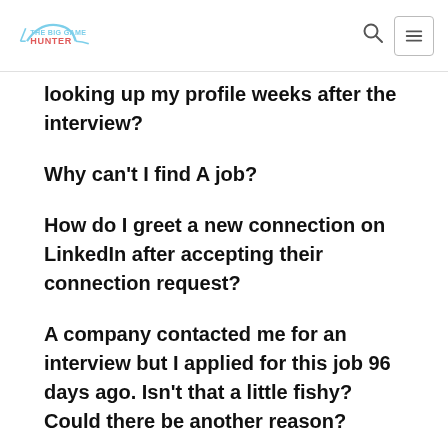The Big Game Hunter
looking up my profile weeks after the interview?
Why can't I find A job?
How do I greet a new connection on LinkedIn after accepting their connection request?
A company contacted me for an interview but I applied for this job 96 days ago. Isn't that a little fishy? Could there be another reason?
One of the most common mistakes people